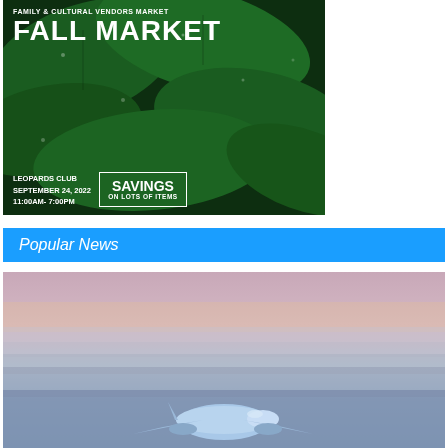[Figure (illustration): Fall Market advertisement banner with dark green leafy background. Text reads: FAMILY & CULTURAL VENDORS MARKET, FALL MARKET, LEOPARDS CLUB, SEPTEMBER 24, 2022, 11:00AM-7:00PM, and a box with SAVINGS ON LOTS OF ITEMS]
Popular News
[Figure (photo): Photo of an airplane flying above clouds at sunset/dusk with blue and orange sky gradient]